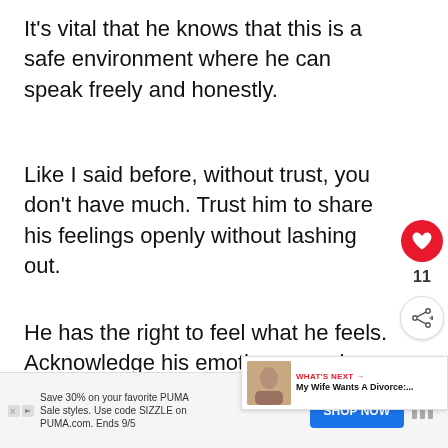It's vital that he knows that this is a safe environment where he can speak freely and honestly.
Like I said before, without trust, you don't have much. Trust him to share his feelings openly without lashing out.
He has the right to feel what he feels. Acknowledge his emotions, worries, frustrations if you want to find a solution
[Figure (infographic): Heart like button (red circle with white heart) showing count of 11, and a share button below]
[Figure (infographic): What's Next banner with image thumbnail and text 'My Wife Wants A Divorce:...']
[Figure (infographic): Advertisement banner: Save 30% on your favorite PUMA Sale styles. Use code SIZZLE on PUMA.com. Ends 9/5. Shop Now button.]